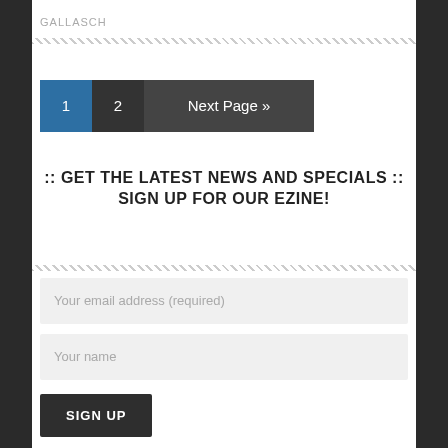GALLASCH
1  2  Next Page »
:: GET THE LATEST NEWS AND SPECIALS :: SIGN UP FOR OUR EZINE!
Your email address (required)
Your name
SIGN UP